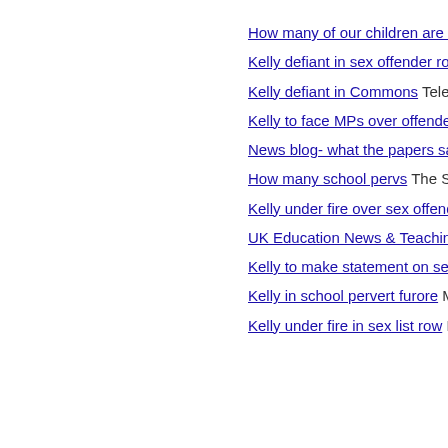How many of our children are at risk
Kelly defiant in sex offender row Daily
Kelly defiant in Commons Telegraph
Kelly to face MPs over offenders Guar…
News blog- what the papers say Guar…
How many school pervs The Sun
Kelly under fire over sex offenders pro…
UK Education News & Teaching News…
Kelly to make statement on sex offend…
Kelly in school pervert furore Manches…
Kelly under fire in sex list row BBC